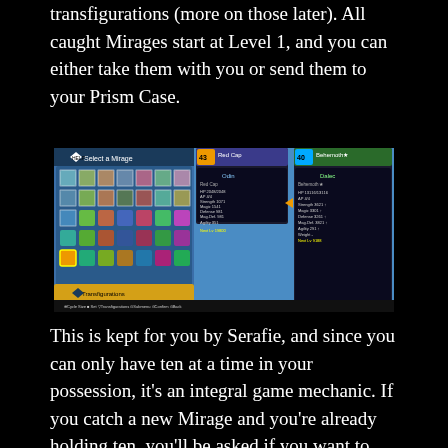transfigurations (more on those later).  All caught Mirages start at Level 1, and you can either take them with you or send them to your Prism Case.
[Figure (screenshot): Game screenshot showing a Mirage selection screen with character stat comparison panels for 'Red Cap' and 'Behemoth★' side by side, with a grid of Mirage thumbnails on the left side.]
This is kept for you by Serafie, and since you can only have ten at a time in your possession, it's an integral game mechanic.  If you catch a new Mirage and you're already holding ten, you'll be asked if you want to retain the new one or send it to the Prism Case.  If you pick the former, you'll have to send another Mirage there.